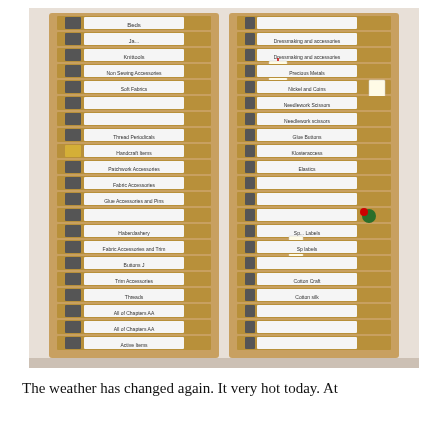[Figure (photo): A large wooden card catalog cabinet with many labeled drawers arranged in two columns. The drawers have black metal pulls and white label holders with handwritten category names. Some drawers have tags or decorations attached. The cabinet is photographed straight-on against a plain wall.]
The weather has changed again. It very hot today. At